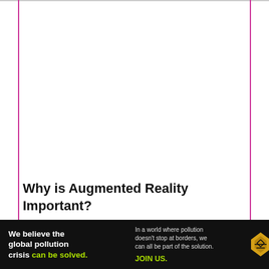Why is Augmented Reality Important?
If you overview the article, you will understand how Augmented reality has evolved our learning
[Figure (other): Advertisement banner for Pure Earth organization with black background. Left text reads: 'We believe the global pollution crisis can be solved.' (with 'can be solved' in green). Middle text: 'In a world where pollution doesn't stop at borders, we can all be part of the solution. JOIN US.' Right: Pure Earth logo with diamond/triangle shape in gold/orange and 'PURE EARTH' in white bold text.]